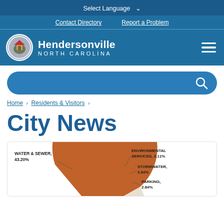Select Language ▾
Contact Directory   Report a Problem
Hendersonville NORTH CAROLINA
[Figure (screenshot): Search bar with magnifying glass icon on blue rounded rectangle background]
Home › Residents & Visitors ›
City News
[Figure (pie-chart): City Budget Allocation]